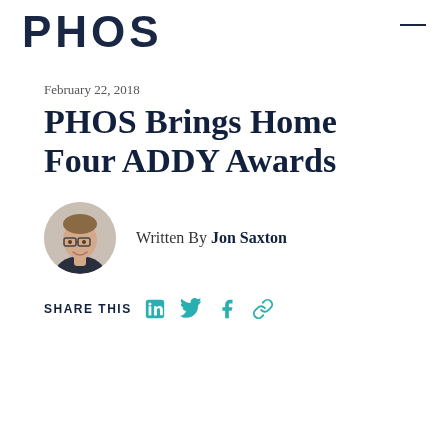PHOS
February 22, 2018
PHOS Brings Home Four ADDY Awards
Written By Jon Saxton
SHARE THIS